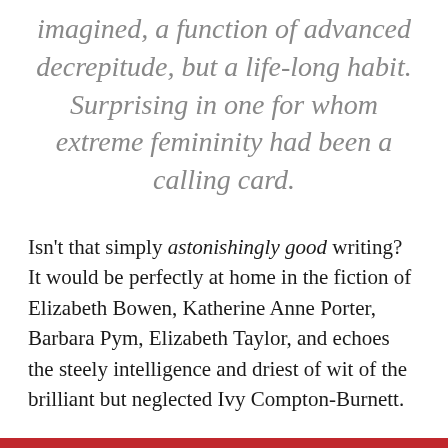imagined, a function of advanced decrepitude, but a life-long habit. Surprising in one for whom extreme femininity had been a calling card.
Isn't that simply astonishingly good writing? It would be perfectly at home in the fiction of Elizabeth Bowen, Katherine Anne Porter, Barbara Pym, Elizabeth Taylor, and echoes the steely intelligence and driest of wit of the brilliant but neglected Ivy Compton-Burnett.